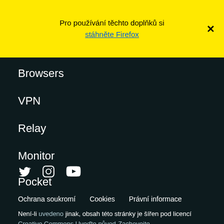Pro používání těchto doplňků si stáhněte Firefox
Browsers
VPN
Relay
Monitor
Pocket
[Figure (illustration): Social media icons: Twitter, Instagram, YouTube]
Ochrana soukromí   Cookies   Právní informace
Není-li uvedeno jinak, obsah této stránky je šířen pod licencí Creative Commons Uveďte původ-Zachovejte